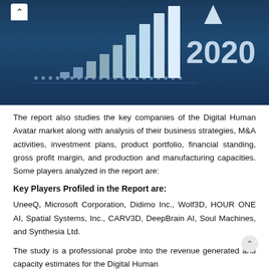[Figure (bar-chart): Dark blue themed bar chart showing growth over time with '2020' label visible. Ascending bars with dotted baseline and an upward triangle arrow.]
The report also studies the key companies of the Digital Human Avatar market along with analysis of their business strategies, M&A activities, investment plans, product portfolio, financial standing, gross profit margin, and production and manufacturing capacities. Some players analyzed in the report are:
Key Players Profiled in the Report are:
UneeQ, Microsoft Corporation, Didimo Inc., Wolf3D, HOUR ONE AI, Spatial Systems, Inc., CARV3D, DeepBrain AI, Soul Machines, and Synthesia Ltd.
The study is a professional probe into the revenue generated and capacity estimates for the Digital Human